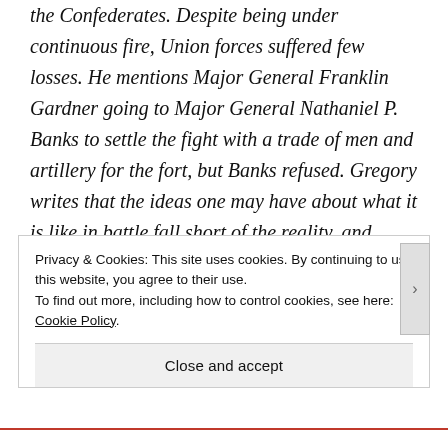the Confederates. Despite being under continuous fire, Union forces suffered few losses. He mentions Major General Franklin Gardner going to Major General Nathaniel P. Banks to settle the fight with a trade of men and artillery for the fort, but Banks refused. Gregory writes that the ideas one may have about what it is like in battle fall short of the reality, and praises the bravery of the soldiers going into the field. He calls those who cry for peace cowards. He disputes that the Union
Privacy & Cookies: This site uses cookies. By continuing to use this website, you agree to their use.
To find out more, including how to control cookies, see here: Cookie Policy
Close and accept